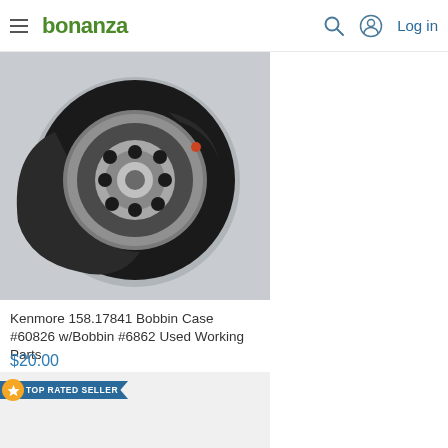bonanza — Log in
[Figure (photo): Close-up photo of a Kenmore sewing machine bobbin case #60826 with bobbin #6862 on a white/grey surface. The bobbin case is black with a metallic circular bobbin visible inside.]
Kenmore 158.17841 Bobbin Case #60826 w/Bobbin #6862 Used Working Parts
$20.00
[Figure (photo): Product photo of Super Bobs Cotton Class 15 MonoPlace Prewound Bobbins packaging, showing the package with three brown/orange bobbins visible at the bottom. Has a 'TOP RATED SELLER' badge in the top left corner.]